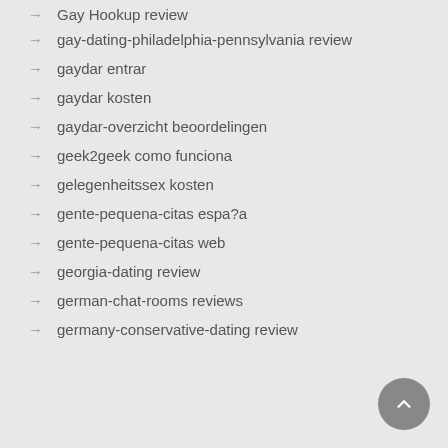Gay Hookup review
gay-dating-philadelphia-pennsylvania review
gaydar entrar
gaydar kosten
gaydar-overzicht beoordelingen
geek2geek como funciona
gelegenheitssex kosten
gente-pequena-citas espa?a
gente-pequena-citas web
georgia-dating review
german-chat-rooms reviews
germany-conservative-dating review